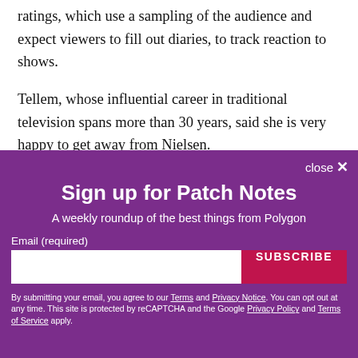ratings, which use a sampling of the audience and expect viewers to fill out diaries, to track reaction to shows.
Tellem, whose influential career in traditional television spans more than 30 years, said she is very happy to get away from Nielsen.
Sign up for Patch Notes
A weekly roundup of the best things from Polygon
Email (required)
[input]
SUBSCRIBE
By submitting your email, you agree to our Terms and Privacy Notice. You can opt out at any time. This site is protected by reCAPTCHA and the Google Privacy Policy and Terms of Service apply.